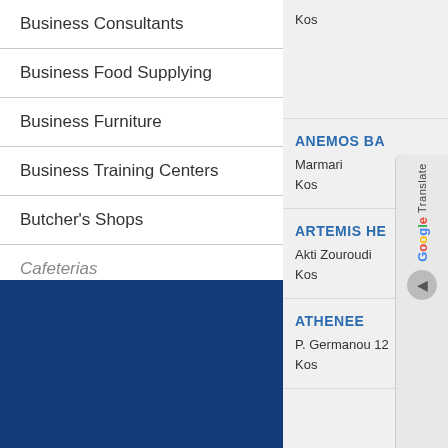Business Consultants
Business Food Supplying
Business Furniture
Business Training Centers
Butcher's Shops
Cafeterias
Kos
ANEMOS BA
Marmari
Kos
ARTEMIS HE
Akti Zouroudi
Kos
ATHENEE
P. Germanou 12
Kos